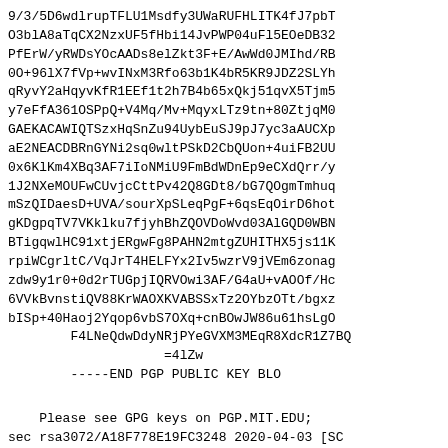9/3/5D6wdlrupTFLU1Msdfy3UWaRUFHLITK4fJ7pbT
O3blA8aTqCX2NzxUF5fHbi14JvPWP04uFl5EOeDB32
PfErW/yRWDsYOcAADs8elZkt3F+E/AwWd0JMIhd/RB
0O+96lX7fVp+wvINxM3Rfo63b1K4bR5KR9JDZ2SLYh
qRyvY2aHqyvKfR1EEf1t2h7B4b65xQkj51qvX5Tjm5
y7eFfA361OSPpQ+V4Mq/Mv+MqyxLTz9tn+80ZtjqM0
GAEKACAWIQTSzxHqSnZu94UybEuSJ9pJ7yc3aAUCXp
aE2NEACDBRnGYNi2sq0wltPSkD2CbQUon+4uiFB2UU
0x6KlKm4XBq3AF7iIoNMiU9FmBdWDnEp9eCXdQrr/y
1J2NXeMOUFwCUvjcCttPv42Q8GDt8/bG7QOgmTmhuq
mSzQIDaesD+UVA/sourXpSLeqPgF+6qsEqOirD6hot
gKDgpqTV7VKklku7fjyhBhZQOVDoWvd03AlGQD0WBN
BTigqwlHC91xtjERgwFg8PAHN2mtgZUHITHX5js11K
rpiWCgrltC/VqJrT4HELFYx2Iv5wzrV9jVEm6zonag
zdw9y1r0+0d2rTUGpjIQRVOwi3AF/G4aU+vAOOf/Hc
6VVkBvnstiQV88KrWAOXKVABSSxTz2OYbzOTt/bgxz
bISp+40Haoj2Yqop6vbS7OXq+cnBOwJW86u61hsLgO
        F4LNeQdwDdyNRjPYeGVXM3MEqR8XdcR1Z7BQ
                    =4lZw
        -----END PGP PUBLIC KEY BLO
Please see GPG keys on PGP.MIT.EDU;
sec rsa3072/A18F778E19FC3248 2020-04-03 [SC